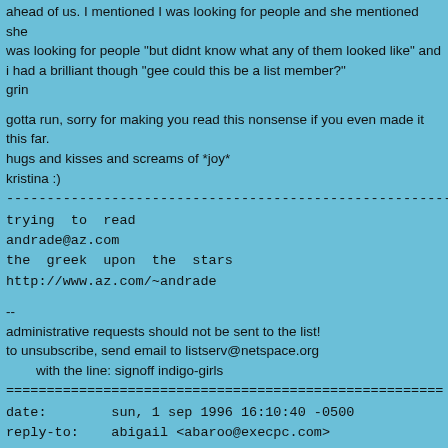ahead of us. I mentioned I was looking for people and she mentioned she was looking for people "but didnt know what any of them looked like" and i had a brilliant though "gee could this be a list member?" grin
gotta run, sorry for making you read this nonsense if you even made it this far.
hugs and kisses and screams of *joy*
kristina :)
------------------------------------------------------------------------
trying  to  read
andrade@az.com
the  greek  upon  the  stars
http://www.az.com/~andrade
--
administrative requests should not be sent to the list!
to unsubscribe, send email to listserv@netspace.org
        with the line: signoff indigo-girls
========================================================
date:        sun, 1 sep 1996 16:10:40 -0500
reply-to:    abigail <abaroo@execpc.com>
sender:        indigo  girls  mailing  list  <indigo-